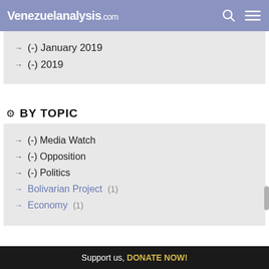Venezuelanalysis.com
(-) January 2019
(-) 2019
BY TOPIC
(-) Media Watch
(-) Opposition
(-) Politics
Bolivarian Project (1)
Economy (1)
Support us, DONATE NOW!